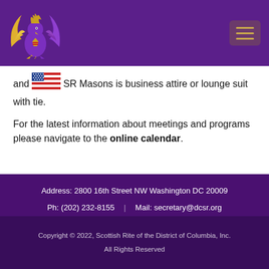[Figure (logo): Scottish Rite of DC phoenix/eagle logo in gold and purple on purple header bar with hamburger menu icon]
and SR Masons is business attire or lounge suit with tie.
For the latest information about meetings and programs please navigate to the online calendar.
Address: 2800 16th Street NW Washington DC 20009
Ph: (202) 232-8155 | Mail: secretary@dcsr.org
Home | About DCSR | Contact | Site Map | Privacy Policy
Copyright © 2022, Scottish Rite of the District of Columbia, Inc. All Rights Reserved